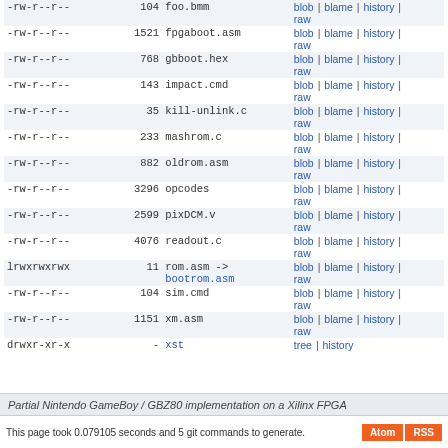| permissions | size | name | links |
| --- | --- | --- | --- |
| -rw-r--r-- | 104 | foo.bmm | blob | blame | history | raw |
| -rw-r--r-- | 1521 | fpgaboot.asm | blob | blame | history | raw |
| -rw-r--r-- | 768 | gbboot.hex | blob | blame | history | raw |
| -rw-r--r-- | 143 | impact.cmd | blob | blame | history | raw |
| -rw-r--r-- | 35 | kill-unlink.c | blob | blame | history | raw |
| -rw-r--r-- | 233 | mashrom.c | blob | blame | history | raw |
| -rw-r--r-- | 882 | oldrom.asm | blob | blame | history | raw |
| -rw-r--r-- | 3296 | opcodes | blob | blame | history | raw |
| -rw-r--r-- | 2599 | pixDCM.v | blob | blame | history | raw |
| -rw-r--r-- | 4076 | readout.c | blob | blame | history | raw |
| lrwxrwxrwx | 11 | rom.asm -> bootrom.asm | blob | blame | history | raw |
| -rw-r--r-- | 104 | sim.cmd | blob | blame | history | raw |
| -rw-r--r-- | 1151 | xm.asm | blob | blame | history | raw |
| drwxr-xr-x | - | xst | tree | history |
Partial Nintendo GameBoy / GBZ80 implementation on a Xilinx FPGA
This page took 0.079105 seconds and 5 git commands to generate.